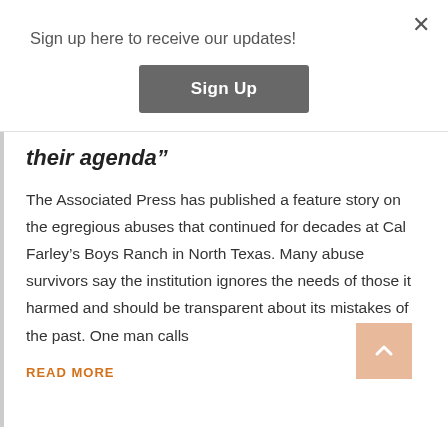Sign up here to receive our updates!
[Figure (other): Sign Up button (dark grey rounded rectangle)]
their agenda”
The Associated Press has published a feature story on the egregious abuses that continued for decades at Cal Farley’s Boys Ranch in North Texas. Many abuse survivors say the institution ignores the needs of those it harmed and should be transparent about its mistakes of the past. One man calls
READ MORE